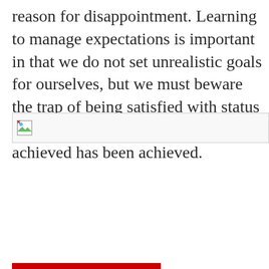reason for disappointment. Learning to manage expectations is important in that we do not set unrealistic goals for ourselves, but we must beware the trap of being satisfied with status quo in the belief that all that can be achieved has been achieved.
[Figure (other): Broken image placeholder icon with small landscape/image icon]